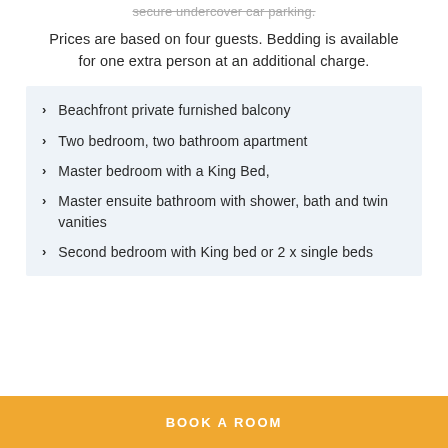secure undercover car parking.
Prices are based on four guests. Bedding is available for one extra person at an additional charge.
Beachfront private furnished balcony
Two bedroom, two bathroom apartment
Master bedroom with a King Bed,
Master ensuite bathroom with shower, bath and twin vanities
Second bedroom with King bed or 2 x single beds
BOOK A ROOM